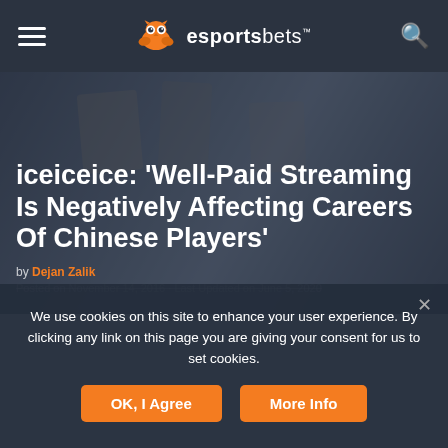esportsbets
[Figure (screenshot): Hero background image showing a blurred gaming/esports scene with dark overlay]
iceiceice: 'Well-Paid Streaming Is Negatively Affecting Careers Of Chinese Players'
by Dejan Zalik
Posted on November 14, 2016 · Last Updated on June 5, 2020
We use cookies on this site to enhance your user experience. By clicking any link on this page you are giving your consent for us to set cookies.